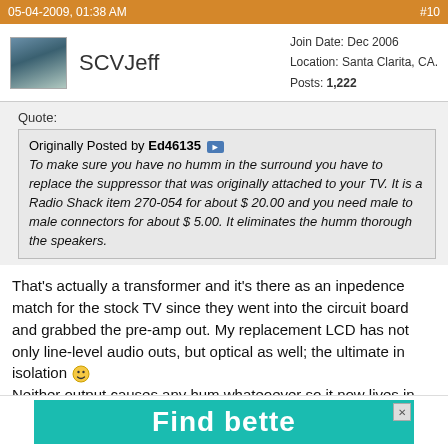05-04-2009, 01:38 AM | #10
SCVJeff | Join Date: Dec 2006 | Location: Santa Clarita, CA. | Posts: 1,222
Quote:
Originally Posted by Ed46135
To make sure you have no humm in the surround you have to replace the suppressor that was originally attached to your TV. It is a Radio Shack item 270-054 for about $ 20.00 and you need male to male connectors for about $ 5.00. It eliminates the humm thorough the speakers.
That's actually a transformer and it's there as an inpedence match for the stock TV since they went into the circuit board and grabbed the pre-amp out. My replacement LCD has not only line-level audio outs, but optical as well; the ultimate in isolation :) Neither output causes any hum whateoever so it now lives in the house where I have been fighting ground loops in the audio for years.
QUOTE
[Figure (illustration): Partial advertisement banner with teal/cyan background and white bold text reading 'Find bette...' (partially visible at bottom)]